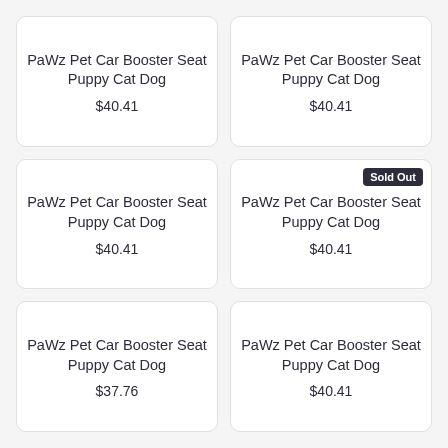PaWz Pet Car Booster Seat Puppy Cat Dog
$40.41
PaWz Pet Car Booster Seat Puppy Cat Dog
$40.41
PaWz Pet Car Booster Seat Puppy Cat Dog
$40.41
Sold Out
PaWz Pet Car Booster Seat Puppy Cat Dog
$40.41
PaWz Pet Car Booster Seat Puppy Cat Dog
$37.76
PaWz Pet Car Booster Seat Puppy Cat Dog
$40.41